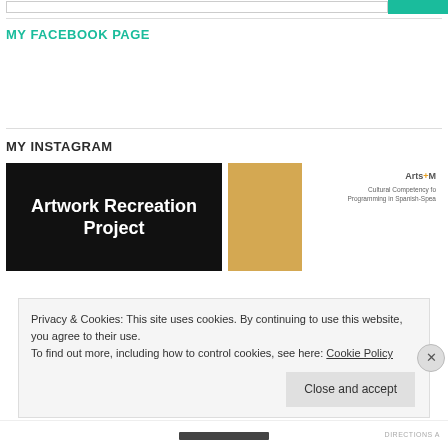MY FACEBOOK PAGE
MY INSTAGRAM
[Figure (screenshot): Instagram post with black background showing text 'Artwork Recreation Project']
[Figure (photo): Instagram post showing a framed document with Arts+M logo and text about Cultural Competency Programming in Spanish-Spea...]
Privacy & Cookies: This site uses cookies. By continuing to use this website, you agree to their use.
To find out more, including how to control cookies, see here: Cookie Policy
Close and accept